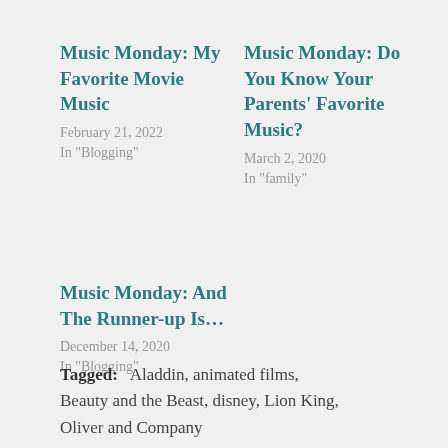Music Monday: My Favorite Movie Music
February 21, 2022
In "Blogging"
Music Monday: Do You Know Your Parents' Favorite Music?
March 2, 2020
In "family"
Music Monday: And The Runner-up Is…
December 14, 2020
In "Blogging"
Tagged:   Aladdin,  animated films,  Beauty and the Beast,  disney,  Lion King,  Oliver and Company